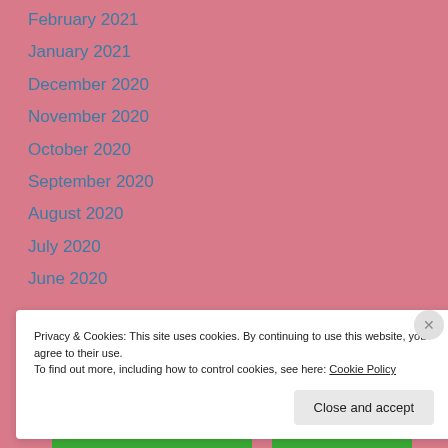February 2021
January 2021
December 2020
November 2020
October 2020
September 2020
August 2020
July 2020
June 2020
Privacy & Cookies: This site uses cookies. By continuing to use this website, you agree to their use.
To find out more, including how to control cookies, see here: Cookie Policy